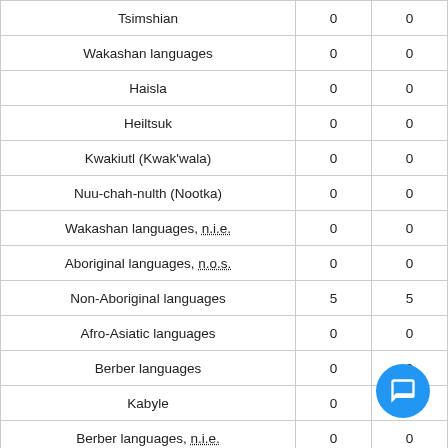| Language |  |  |
| --- | --- | --- |
| Tsimshian | 0 | 0 |
| Wakashan languages | 0 | 0 |
| Haisla | 0 | 0 |
| Heiltsuk | 0 | 0 |
| Kwakiutl (Kwak'wala) | 0 | 0 |
| Nuu-chah-nulth (Nootka) | 0 | 0 |
| Wakashan languages, n.i.e. | 0 | 0 |
| Aboriginal languages, n.o.s. | 0 | 0 |
| Non-Aboriginal languages | 5 | 5 |
| Afro-Asiatic languages | 0 | 0 |
| Berber languages | 0 | 0 |
| Kabyle | 0 | 0 |
| Berber languages, n.i.e. | 0 | 0 |